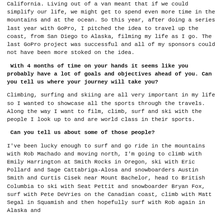California. Living out of a van meant that if we could simplify our life, we might get to spend even more time in the mountains and at the ocean. So this year, after doing a series last year with GoPro, I pitched the idea to travel up the coast, from San Diego to Alaska, filming my life as I go. The last GoPro project was successful and all of my sponsors could not have been more stoked on the idea.
With 4 months of time on your hands it seems like you probably have a lot of goals and objectives ahead of you. Can you tell us where your journey will take you?
Climbing, surfing and skiing are all very important in my life so I wanted to showcase all the sports through the travels. Along the way I want to film, climb, surf and ski with the people I look up to and are world class in their sports.
Can you tell us about some of those people?
I've been lucky enough to surf and go ride in the mountains with Rob Machado and moving north, I'm going to climb with Emily Harrington at Smith Rocks in Oregon, ski with Eric Pollard and Sage Cattabriga-Alosa and snowboarders Austin Smith and Curtis Cisek near Mount Bachelor, head to British Columbia to ski with Seat Pettit and snowboarder Bryan Fox, surf with Pete DeVries on the Canadian coast, climb with Matt Segal in Squamish and then hopefully surf with Rob again in Alaska and